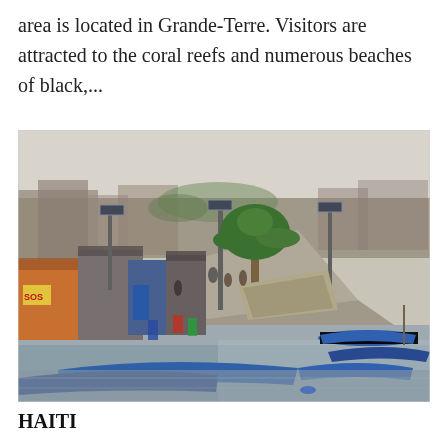area is located in Grande-Terre. Visitors are attracted to the coral reefs and numerous beaches of black,...
[Figure (photo): A waterfront scene in Haiti showing a crowded informal settlement with wooden shacks, people walking along a narrow causeway, a palm tree, several wooden fishing boats moored in calm water, solar street lamps, and a hazy urban background.]
HAITI